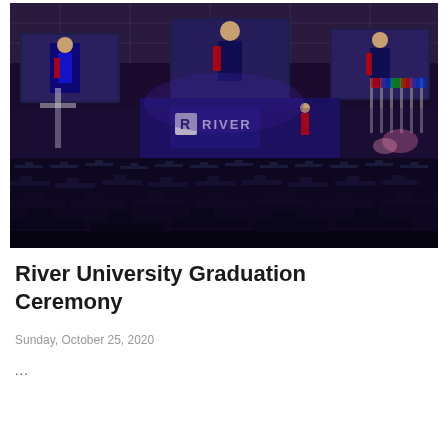[Figure (photo): Graduation ceremony at River University. Wide shot of an auditorium/arena venue filled with graduates wearing dark caps and gowns seated in the foreground. The stage features a large 'RIVER' branded backdrop with the university logo, blue and purple stage lighting, and multiple large screens showing a speaker in academic regalia (black gown with red accents) at a podium. Flags are visible on the right side of the stage.]
River University Graduation Ceremony
Sunday, October 25, 2020
...